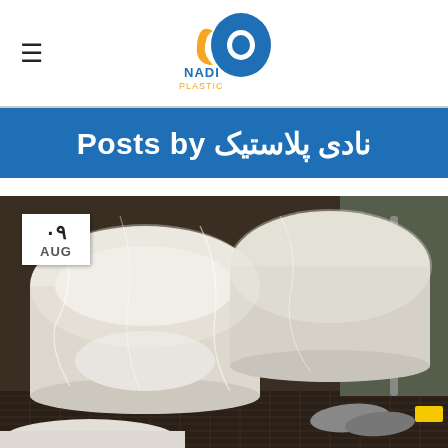Nadi Plastic logo and navigation
Posts by نادی پلاستیک
[Figure (photo): White plastic toilet/sanitary ware products wrapped in clear plastic film on an industrial conveyor/production line, with machinery visible on the right. A date badge shows '09 AUG' in the upper left corner of the image.]